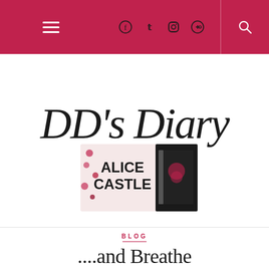Navigation bar with hamburger menu, social icons (Facebook, Twitter, Instagram, Pinterest), and search icon
[Figure (logo): DD's Diary by Alice Castle blog logo — cursive script 'DD's Diary' overlapping with a book cover image showing 'Alice Castle' text and red roses]
BLOG
....and Breathe
July 5, 2016